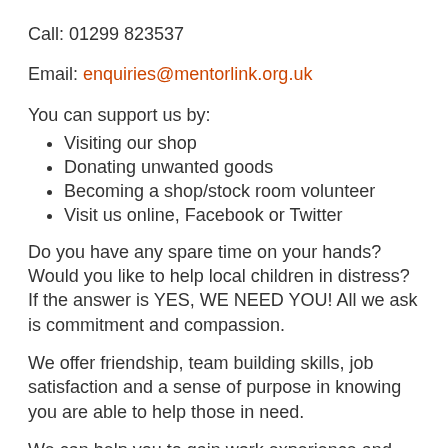Call: 01299 823537
Email: enquiries@mentorlink.org.uk
You can support us by:
Visiting our shop
Donating unwanted goods
Becoming a shop/stock room volunteer
Visit us online, Facebook or Twitter
Do you have any spare time on your hands? Would you like to help local children in distress? If the answer is YES, WE NEED YOU! All we ask is commitment and compassion.
We offer friendship, team building skills, job satisfaction and a sense of purpose in knowing you are able to help those in need.
We can help you to gain work experience and new